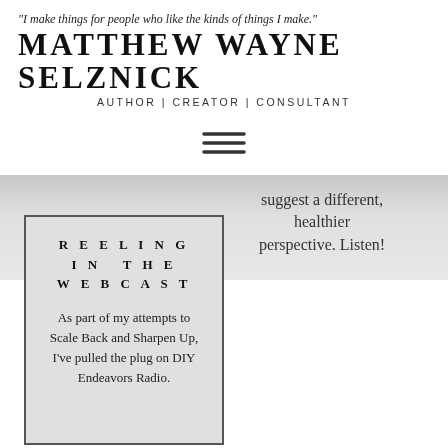“I make things for people who like the kinds of things I make.”
MATTHEW WAYNE SELZNICK
AUTHOR | CREATOR | CONSULTANT
[Figure (other): Hamburger menu icon (three horizontal lines)]
suggest a different, healthier perspective. Listen!
REELING IN THE WEBCAST
As part of my attempts to Scale Back and Sharpen Up, I've pulled the plug on DIY Endeavors Radio.